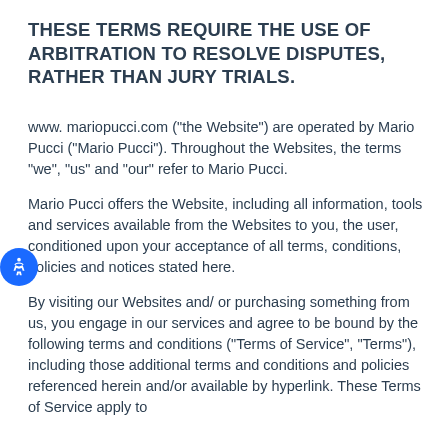THESE TERMS REQUIRE THE USE OF ARBITRATION TO RESOLVE DISPUTES, RATHER THAN JURY TRIALS.
www. mariopucci.com (“the Website”) are operated by Mario Pucci (“Mario Pucci”). Throughout the Websites, the terms “we”, “us” and “our” refer to Mario Pucci.
Mario Pucci offers the Website, including all information, tools and services available from the Websites to you, the user, conditioned upon your acceptance of all terms, conditions, policies and notices stated here.
By visiting our Websites and/ or purchasing something from us, you engage in our services and agree to be bound by the following terms and conditions (“Terms of Service”, “Terms”), including those additional terms and conditions and policies referenced herein and/or available by hyperlink. These Terms of Service apply to